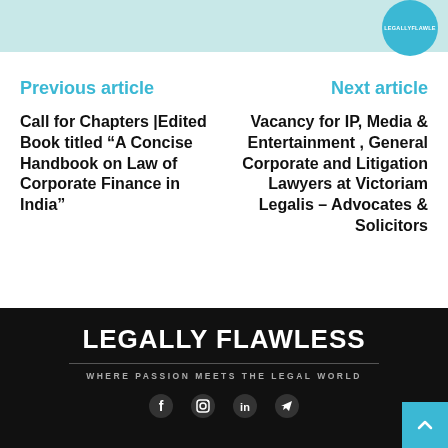[Figure (illustration): Light teal banner with circular avatar showing LEGALLYFLAWLESS text on a teal background]
Previous article
Call for Chapters |Edited Book titled “A Concise Handbook on Law of Corporate Finance in India”
Next article
Vacancy for IP, Media & Entertainment , General Corporate and Litigation Lawyers at Victoriam Legalis – Advocates & Solicitors
LEGALLY FLAWLESS
WHERE PASSION MEETS THE LEGAL WORLD